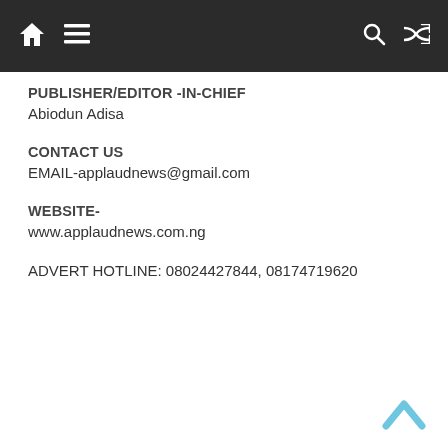Navigation bar with home, menu, search, and shuffle icons
PUBLISHER/EDITOR -IN-CHIEF
Abiodun Adisa
CONTACT US
EMAIL-applaudnews@gmail.com
WEBSITE-
www.applaudnews.com.ng
ADVERT HOTLINE: 08024427844, 08174719620
[Figure (illustration): Light blue upward chevron / back-to-top button in bottom right corner]